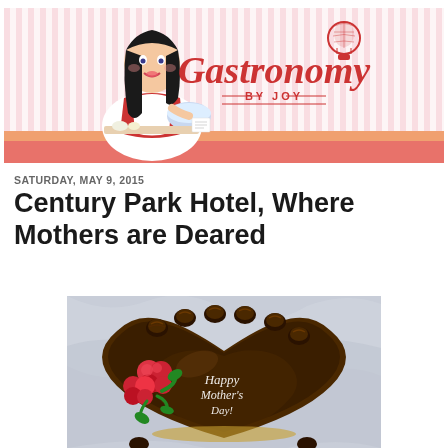[Figure (illustration): Gastronomy by Joy blog header banner with illustrated cartoon of a woman in a red apron cooking, pink striped background, and the text 'Gastronomy BY JOY' in red script with a hot air balloon icon]
SATURDAY, MAY 9, 2015
Century Park Hotel, Where Mothers are Deared
[Figure (photo): Top-down photo of a heart-shaped chocolate cake decorated with red carnation flowers, chocolate truffles around the edge, and 'Happy Mother's Day!' written in white icing on the chocolate ganache surface]